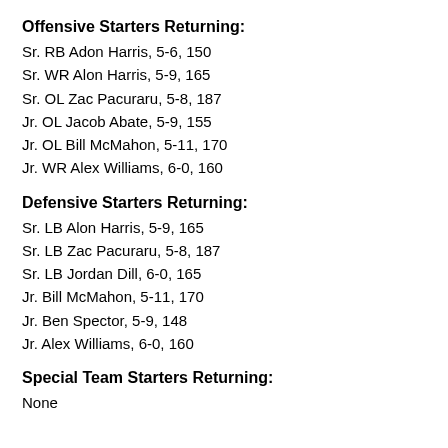Offensive Starters Returning:
Sr. RB Adon Harris, 5-6, 150
Sr. WR Alon Harris, 5-9, 165
Sr. OL Zac Pacuraru, 5-8, 187
Jr. OL Jacob Abate, 5-9, 155
Jr. OL Bill McMahon, 5-11, 170
Jr. WR Alex Williams, 6-0, 160
Defensive Starters Returning:
Sr. LB Alon Harris, 5-9, 165
Sr. LB Zac Pacuraru, 5-8, 187
Sr. LB Jordan Dill, 6-0, 165
Jr. Bill McMahon, 5-11, 170
Jr. Ben Spector, 5-9, 148
Jr. Alex Williams, 6-0, 160
Special Team Starters Returning:
None